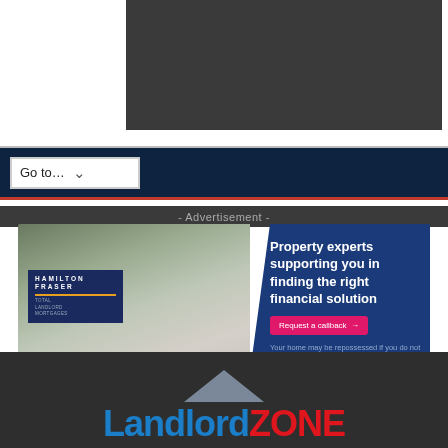[Figure (screenshot): Dark rectangular banner area at top of page (navigation/header screenshot fragment)]
[Figure (screenshot): Navigation bar with dark navy background and 'Go to...' dropdown selector]
- Advertisement -
[Figure (screenshot): Hamilton Fraser Total Landlord Mortgages advertisement banner: 'Property experts supporting you in finding the right financial solution' with pink 'Request a callback' button and disclaimer text]
[Figure (logo): LandlordZONE logo with blue 'Landlord' text and red 'ZONE' text, with a grey roof/house icon above]